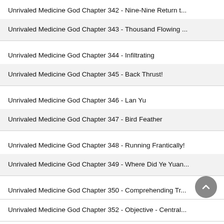Unrivaled Medicine God Chapter 342 - Nine-Nine Return t...
Unrivaled Medicine God Chapter 343 - Thousand Flowing ...
Unrivaled Medicine God Chapter 344 - Infiltrating
Unrivaled Medicine God Chapter 345 - Back Thrust!
Unrivaled Medicine God Chapter 346 - Lan Yu
Unrivaled Medicine God Chapter 347 - Bird Feather
Unrivaled Medicine God Chapter 348 - Running Frantically!
Unrivaled Medicine God Chapter 349 - Where Did Ye Yuan...
Unrivaled Medicine God Chapter 350 - Comprehending Tr...
Unrivaled Medicine God Chapter 351 - Wind-Fire Violent B...
Unrivaled Medicine God Chapter 352 - Objective - Central...
Unrivaled Medicine God Chapter 353 - Saving People